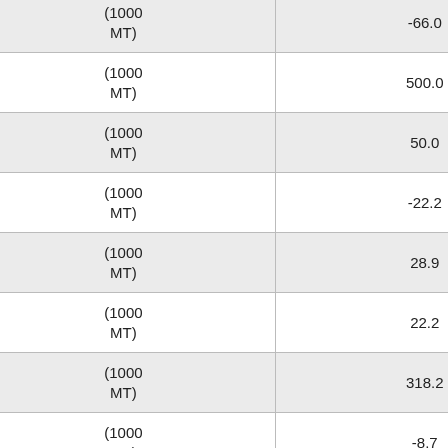| Year | Count | Unit | Value |
| --- | --- | --- | --- |
| 2006 | 1 | (1000 MT) | -66.0 |
| 2007 | 6 | (1000 MT) | 500.0 |
| 2008 | 9 | (1000 MT) | 50.0 |
| 2009 | 7 | (1000 MT) | -22.2 |
| 2010 | 9 | (1000 MT) | 28.9 |
| 2011 | 11 | (1000 MT) | 22.2 |
| 2012 | 46 | (1000 MT) | 318.2 |
| 2013 | 42 | (1000 MT) | -8.7 |
| 2014 | 39 | (1000 MT) | -7.3 |
| 2015 | 30 | (1000 MT) | -23.0 |
| 2016 | 5 | (1000 MT) | -83.3 |
| 2017 | 2 | (1000 MT) | -60.0 |